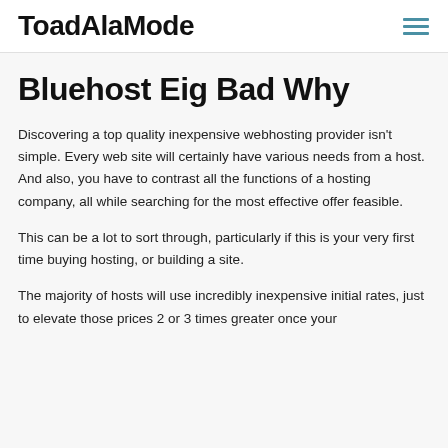ToadAlaMode
Bluehost Eig Bad Why
Discovering a top quality inexpensive webhosting provider isn't simple. Every web site will certainly have various needs from a host. And also, you have to contrast all the functions of a hosting company, all while searching for the most effective offer feasible.
This can be a lot to sort through, particularly if this is your very first time buying hosting, or building a site.
The majority of hosts will use incredibly inexpensive initial rates, just to elevate those prices 2 or 3 times greater once your